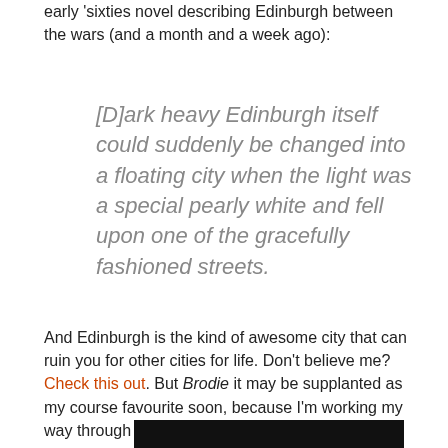early ‘sixties novel describing Edinburgh between the wars (and a month and a week ago):
[D]ark heavy Edinburgh itself could suddenly be changed into a floating city when the light was a special pearly white and fell upon one of the gracefully fashioned streets.
And Edinburgh is the kind of awesome city that can ruin you for other cities for life. Don’t believe me? Check this out. But Brodie it may be supplanted as my course favourite soon, because I’m working my way through this:
[Figure (photo): Bottom portion of an image, showing a dark/black bar at the top edge of the visible area.]